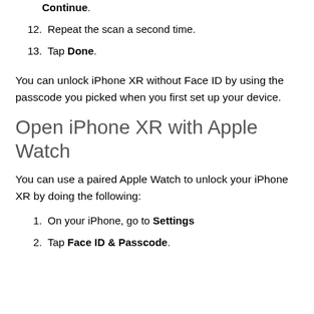Continue.
12. Repeat the scan a second time.
13. Tap Done.
You can unlock iPhone XR without Face ID by using the passcode you picked when you first set up your device.
Open iPhone XR with Apple Watch
You can use a paired Apple Watch to unlock your iPhone XR by doing the following:
1. On your iPhone, go to Settings
2. Tap Face ID & Passcode.